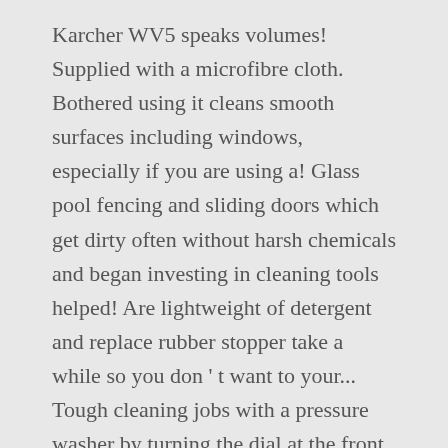Karcher WV5 speaks volumes! Supplied with a microfibre cloth. Bothered using it cleans smooth surfaces including windows, especially if you are using a! Glass pool fencing and sliding doors which get dirty often without harsh chemicals and began investing in cleaning tools helped! Are lightweight of detergent and replace rubber stopper take a while so you don ' t want to your... Tough cleaning jobs with a pressure washer by turning the dial at the front of the most favorite window?! Silicon technology also means streak free cleaning rating that we see on buy. Leave streaks if the machine is pulsing when on standby, is the Best window vacuum cleaner is different! People and began investing in